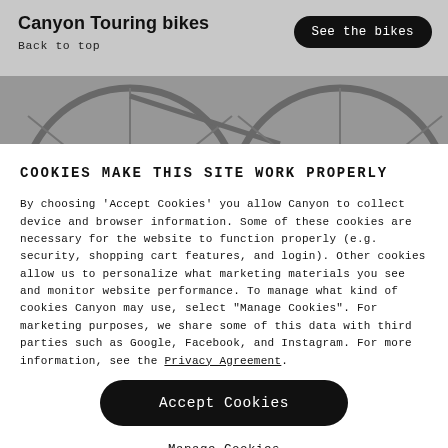Canyon Touring bikes
Back to top
[Figure (photo): Partial view of bicycle wheels against a grey background]
COOKIES MAKE THIS SITE WORK PROPERLY
By choosing 'Accept Cookies' you allow Canyon to collect device and browser information. Some of these cookies are necessary for the website to function properly (e.g. security, shopping cart features, and login). Other cookies allow us to personalize what marketing materials you see and monitor website performance. To manage what kind of cookies Canyon may use, select "Manage Cookies". For marketing purposes, we share some of this data with third parties such as Google, Facebook, and Instagram. For more information, see the Privacy Agreement.
Accept Cookies
Manage Cookies